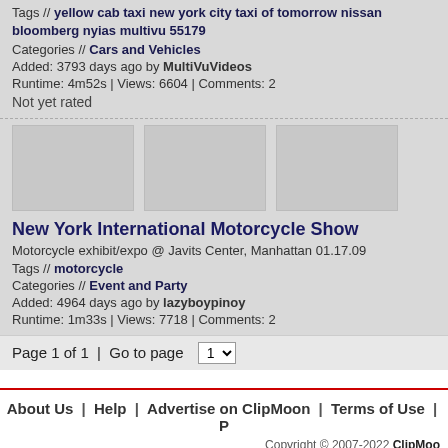Tags // yellow cab taxi new york city taxi of tomorrow nissan bloomberg nyias multivu 55179
Categories // Cars and Vehicles
Added: 3793 days ago by MultiVuVideos
Runtime: 4m52s | Views: 6604 | Comments: 2
Not yet rated
[Figure (photo): Three video thumbnails side by side (gray placeholder images)]
New York International Motorcycle Show
Motorcycle exhibit/expo @ Javits Center, Manhattan 01.17.09
Tags // motorcycle
Categories // Event and Party
Added: 4964 days ago by lazyboypinoy
Runtime: 1m33s | Views: 7718 | Comments: 2
Page 1 of 1  |  Go to page  1
About Us  |  Help  |  Advertise on ClipMoon  |  Terms of Use  |  P
Copyright © 2007-2022 ClipMoo